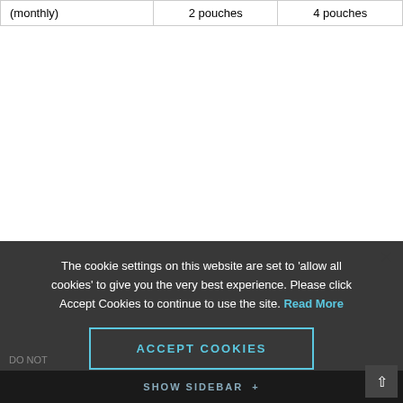|  |  |  |
| --- | --- | --- |
| (monthly) | 2 pouches | 4 pouches |
The cookie settings on this website are set to 'allow all cookies' to give you the very best experience. Please click Accept Cookies to continue to use the site. Read More
Warning
ACCEPT COOKIES
DO NOT
SHOW SIDEBAR +